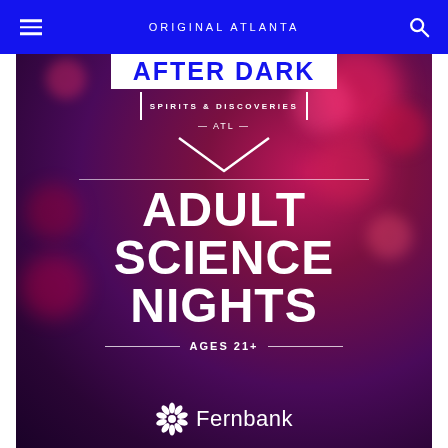ORIGINAL ATLANTA
[Figure (photo): Promotional poster for Fernbank 'After Dark: Spirits & Discoveries ATL' event — Adult Science Nights, Ages 21+. Dark purple/red bokeh background with white text and Fernbank logo.]